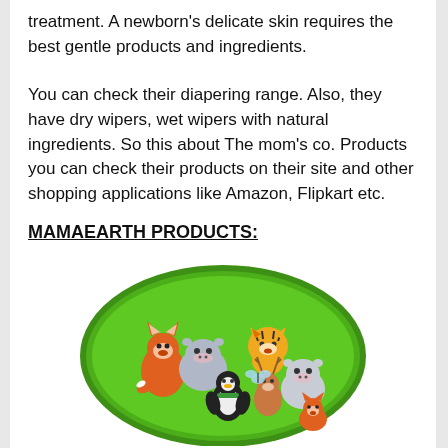treatment. A newborn's delicate skin requires the best gentle products and ingredients.
You can check their diapering range. Also, they have dry wipers, wet wipers with natural ingredients. So this about The mom's co. Products you can check their products on their site and other shopping applications like Amazon, Flipkart etc.
MAMAEARTH PRODUCTS:
[Figure (photo): A green oval tummy time mat / baby play mat with cartoon animal characters including a fox, hippo, tiger, penguin, deer, and other animals appliqued on the surface.]